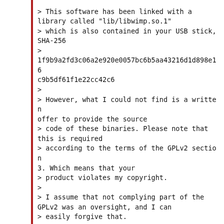> This software has been linked with a library called "lib/libwimp.so.1"
> which is also contained in your USB stick, SHA-256
>
1f9b9a2fd3c06a2e920e0057bc6b5aa43216d1d898e16c9b5df61f1e22cc42c6
>
> However, what I could not find is a written offer to provide the source
> code of these binaries. Please note that this is required
> according to the terms of the GPLv2 section 3. Which means that your
> product violates my copyright.
>
> I assume that not complying part of the GPLv2 was an oversight, and I can
> easily forgive that.
>
> What do I insist is that you provide the full source code of both the "mpd"
> binary and the file "libwimp.so.1".
>